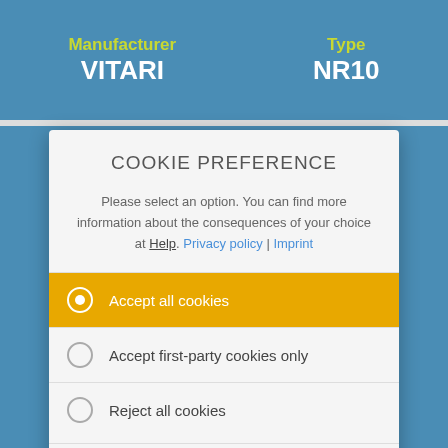Manufacturer: VITARI
Type: NR10
COOKIE PREFERENCE
Please select an option. You can find more information about the consequences of your choice at Help. Privacy policy | Imprint
Accept all cookies (selected)
Accept first-party cookies only
Reject all cookies
SELECT AN OPTION TO CONTINUE
MORE INFORMATION
[Figure (screenshot): Social media icons: Facebook, Twitter, Pinterest, email, WhatsApp]